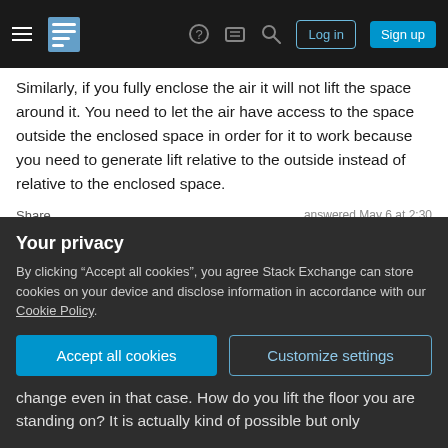Stack Exchange navigation bar with hamburger menu, logo, help, chat, search icons, Log in and Sign up buttons
Similarly, if you fully enclose the air it will not lift the space around it. You need to let the air have access to the space outside the enclosed space in order for it to work because you need to generate lift relative to the outside instead of relative to the enclosed space.
Share
Improve this answer
Follow
answered May 6 at 2:30
slebetman
2,376  ●11  ●15
The real problem may be air flow within the container.
Your privacy
By clicking "Accept all cookies", you agree Stack Exchange can store cookies on your device and disclose information in accordance with our Cookie Policy.
Accept all cookies  Customize settings
change even in that case. How do you lift the floor you are standing on? It is actually kind of possible but only